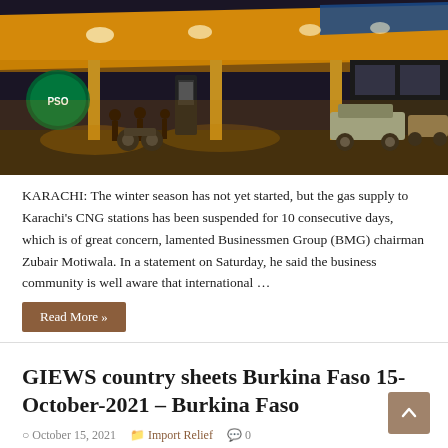[Figure (photo): Night-time photo of a CNG/petrol station in Karachi with orange lighting, cars and motorcycles queuing, and a blue-striped canopy overhead. A PSO logo is visible on the left.]
KARACHI: The winter season has not yet started, but the gas supply to Karachi's CNG stations has been suspended for 10 consecutive days, which is of great concern, lamented Businessmen Group (BMG) chairman Zubair Motiwala. In a statement on Saturday, he said the business community is well aware that international …
Read More »
GIEWS country sheets Burkina Faso 15-October-2021 – Burkina Faso
October 15, 2021   Import Relief   0